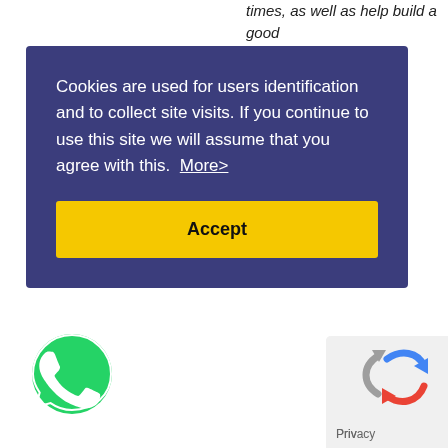times, as well as help build a good
[Figure (screenshot): Cookie consent banner with dark blue/navy background. Text reads: 'Cookies are used for users identification and to collect site visits. If you continue to use this site we will assume that you agree with this. More>' with a yellow Accept button below.]
suggest a solution that will fit your personal outlooks and individual preferences at best!
[Figure (logo): WhatsApp icon - green speech bubble with phone handset]
[Figure (logo): Google reCAPTCHA badge with rotating arrows logo and 'Privacy' text]